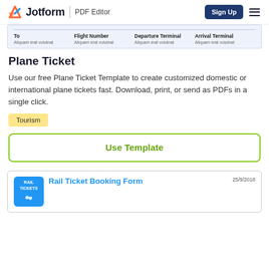Jotform | PDF Editor  Sign Up
[Figure (screenshot): Partial plane ticket preview showing columns: To, Flight Number, Departure Terminal, Arrival Terminal with placeholder text 'Aliquam erat volutnat']
Plane Ticket
Use our free Plane Ticket Template to create customized domestic or international plane tickets fast. Download, print, or send as PDFs in a single click.
Tourism
Use Template
[Figure (screenshot): Rail Ticket Booking Form preview card with blue Rail Tickets badge icon, title 'Rail Ticket Booking Form', date '25/9/2018']